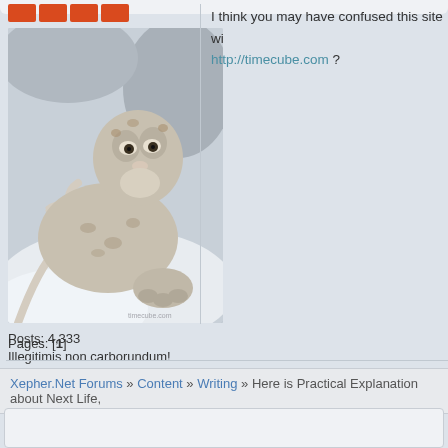[Figure (photo): Red/orange rank bar icons at top left of forum post user panel]
[Figure (photo): Snow leopard resting on rocks and antlers, forum user avatar image]
Posts: 4,333
Illegitimis non carborundum!
[Figure (illustration): Small user profile icon and globe icon]
I think you may have confused this site wi http://timecube.com ?
Pages: [1]
Xepher.Net Forums » Content » Writing » Here is Practical Explanation about Next Life,